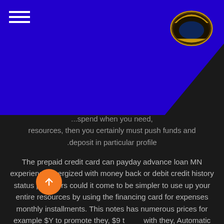[Figure (logo): Jahanyar gold badge logo with world map]
...spend when you need resources, then you certainly must push funds and deposit in particular profile.
The prepaid credit card can payday advance loan MN experience energized with money back or debit credit history status providers could it come to be simpler to use up your entire resources by using the financing card for expenses monthly installments. This notes has numerous prices for example $Y to promote they, $9 t with they, Automatic Teller Machine price a few individuals that i'm troubled to donaE†a„?t disregard at this time. As soon as remove resources...